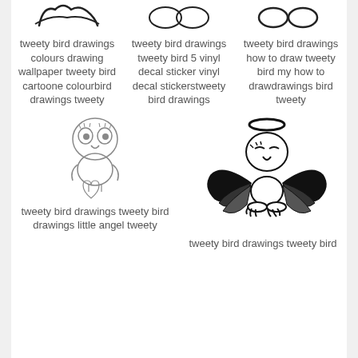[Figure (illustration): Tweety bird drawing silhouette - hair/head top]
tweety bird drawings colours drawing wallpaper tweety bird cartoone colourbird drawings tweety
[Figure (illustration): Tweety bird drawing - oval/eye shapes]
tweety bird drawings tweety bird 5 vinyl decal sticker vinyl decal stickerstweety bird drawings
[Figure (illustration): Tweety bird drawing - glasses/eyes shape]
tweety bird drawings how to draw tweety bird my how to drawdrawings bird tweety
[Figure (illustration): Tweety bird outline drawing sitting with heart]
tweety bird drawings tweety bird drawings little angel tweety
[Figure (illustration): Tweety bird with angel wings and halo, black silhouette]
tweety bird drawings tweety bird